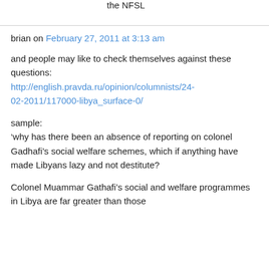the NFSL
brian on February 27, 2011 at 3:13 am
and people may like to check themselves against these questions: http://english.pravda.ru/opinion/columnists/24-02-2011/117000-libya_surface-0/
sample:
‘why has there been an absence of reporting on colonel Gadhafi’s social welfare schemes, which if anything have made Libyans lazy and not destitute?
Colonel Muammar Gathafi’s social and welfare programmes in Libya are far greater than those